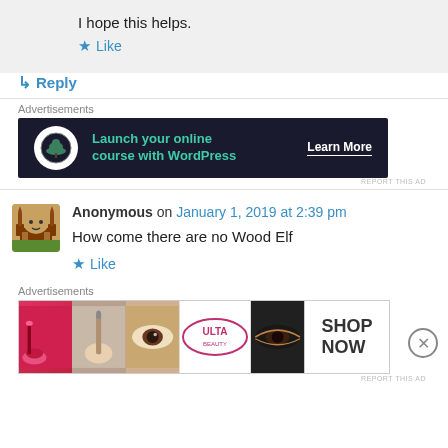I hope this helps.
★ Like
↳ Reply
Advertisements
[Figure (screenshot): Dark advertisement banner: bonsai tree logo circle, text 'Launch your online course with WordPress' in teal, 'Learn More' button in white]
REPORT THIS AD
Anonymous on January 1, 2019 at 2:39 pm
How come there are no Wood Elf
★ Like
Advertisements
[Figure (screenshot): Beauty/makeup advertisement banner with lipstick, brush, eye, ULTA logo, eye makeup, and SHOP NOW panel]